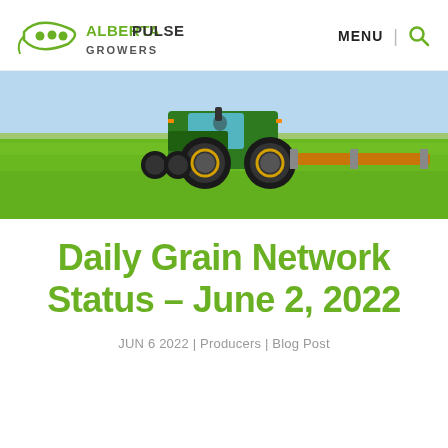[Figure (logo): Alberta Pulse Growers logo — green pod icon with three circles, text 'ALBERTA PULSE GROWERS']
MENU | 🔍
[Figure (photo): Green John Deere tractor with equipment driving across a lush green crop field under a light blue sky]
Daily Grain Network Status – June 2, 2022
JUN 6 2022 | Producers | Blog Post